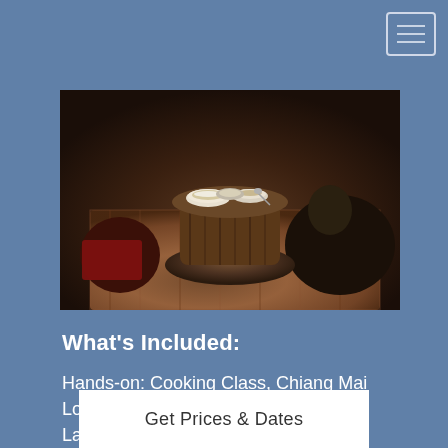[Figure (photo): People sitting around a low wicker table with bowls of food, on a patterned rug, indoors]
What's Included:
Hands-on: Cooking Class, Chiang Mai Local Living: Village Homestay, Lampang. Mae Sa visit (Chiang Rai). Opium Museum visit. Bicycle tour (half-day, Sukhothai). All transport to/from included activities and between all destinations
Get Prices & Dates